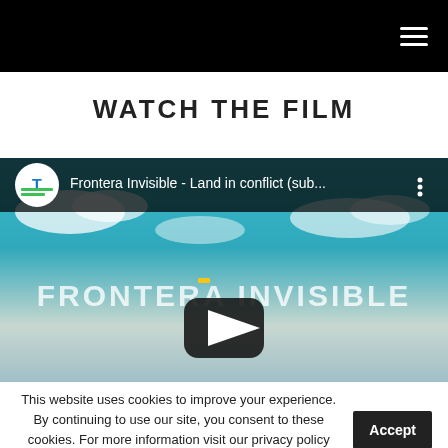Navigation menu (hamburger icon)
WATCH THE FILM
[Figure (screenshot): YouTube video embed showing 'Frontera Invisible - Land in conflict (sub...' with a play button overlay on a sky background with clouds. The video thumbnail shows the text FRONTERA INVISIBLE in large letters.]
This website uses cookies to improve your experience. By continuing to use our site, you consent to these cookies. For more information visit our privacy policy page.
Privacy policy